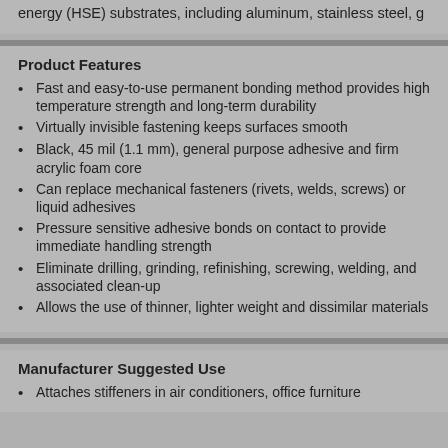energy (HSE) substrates, including aluminum, stainless steel, g
Product Features
Fast and easy-to-use permanent bonding method provides high temperature strength and long-term durability
Virtually invisible fastening keeps surfaces smooth
Black, 45 mil (1.1 mm), general purpose adhesive and firm acrylic foam core
Can replace mechanical fasteners (rivets, welds, screws) or liquid adhesives
Pressure sensitive adhesive bonds on contact to provide immediate handling strength
Eliminate drilling, grinding, refinishing, screwing, welding, and associated clean-up
Allows the use of thinner, lighter weight and dissimilar materials
Manufacturer Suggested Use
Attaches stiffeners in air conditioners, office furniture